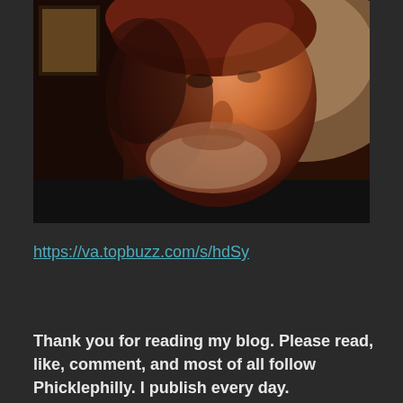[Figure (photo): Close-up photo of a middle-aged man with reddish-brown hair and a salt-and-pepper beard, wearing a dark shirt, lit by warm ambient light against a beige wall]
https://va.topbuzz.com/s/hdSy
Thank you for reading my blog. Please read, like, comment, and most of all follow Phicklephilly. I publish every day.